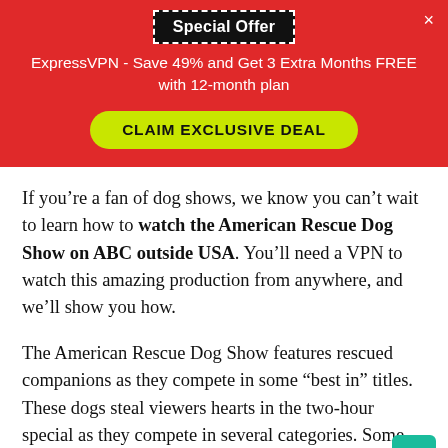Special Offer
ExpressVPN - Save 49% and Get 3 Extra Months FREE with 12-month plan
CLAIM EXCLUSIVE DEAL
If you’re a fan of dog shows, we know you can’t wait to learn how to watch the American Rescue Dog Show on ABC outside USA. You’ll need a VPN to watch this amazing production from anywhere, and we’ll show you how.
The American Rescue Dog Show features rescued companions as they compete in some “best in” titles. These dogs steal viewers hearts in the two-hour special as they compete in several categories. Some notable ones